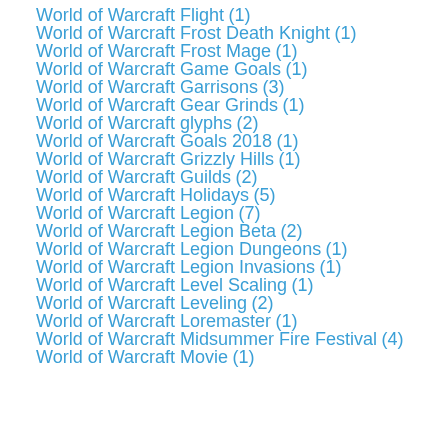World of Warcraft Flight (1)
World of Warcraft Frost Death Knight (1)
World of Warcraft Frost Mage (1)
World of Warcraft Game Goals (1)
World of Warcraft Garrisons (3)
World of Warcraft Gear Grinds (1)
World of Warcraft glyphs (2)
World of Warcraft Goals 2018 (1)
World of Warcraft Grizzly Hills (1)
World of Warcraft Guilds (2)
World of Warcraft Holidays (5)
World of Warcraft Legion (7)
World of Warcraft Legion Beta (2)
World of Warcraft Legion Dungeons (1)
World of Warcraft Legion Invasions (1)
World of Warcraft Level Scaling (1)
World of Warcraft Leveling (2)
World of Warcraft Loremaster (1)
World of Warcraft Midsummer Fire Festival (4)
World of Warcraft Movie (1)